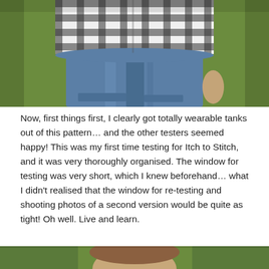[Figure (photo): Close-up photo of a person wearing a black and white gingham/plaid shirt tucked into blue jeans, standing on a sidewalk with green grass in the background.]
Now, first things first, I clearly got totally wearable tanks out of this pattern… and the other testers seemed happy! This was my first time testing for Itch to Stitch, and it was very thoroughly organised. The window for testing was very short, which I knew beforehand… what I didn't realised that the window for re-testing and shooting photos of a second version would be quite as tight! Oh well. Live and learn.
[Figure (photo): Partial photo at bottom of page showing a person outdoors with green background, cropped.]